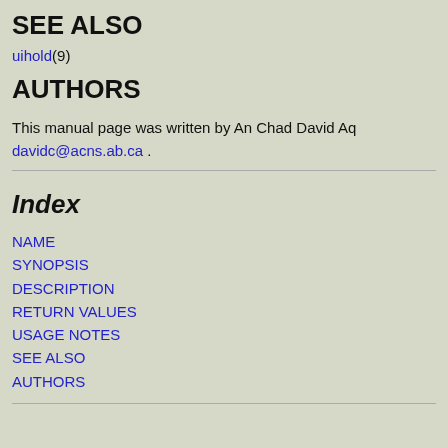SEE ALSO
uihold(9)
AUTHORS
This manual page was written by An Chad David Aq davidc@acns.ab.ca .
Index
NAME
SYNOPSIS
DESCRIPTION
RETURN VALUES
USAGE NOTES
SEE ALSO
AUTHORS